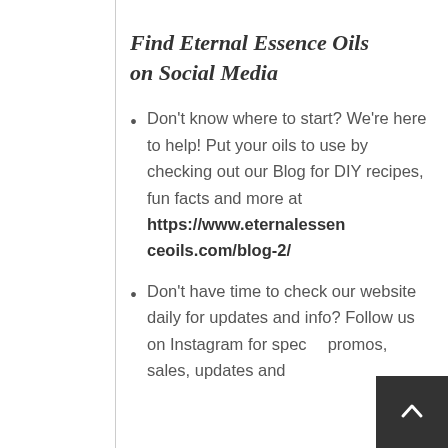Find Eternal Essence Oils on Social Media
Don't know where to start? We're here to help! Put your oils to use by checking out our Blog for DIY recipes, fun facts and more at https://www.eternalessenceoils.com/blog-2/
Don't have time to check our website daily for updates and info? Follow us on Instagram for special promos, sales, updates and